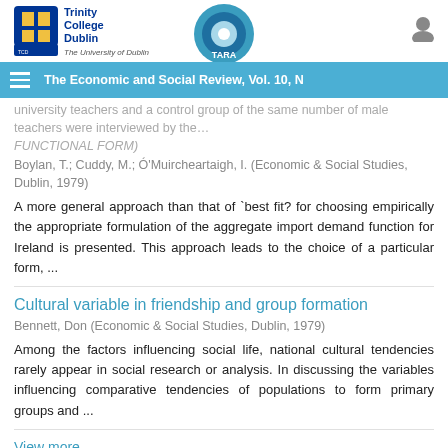Trinity College Dublin — The University of Dublin | The Economic and Social Review, Vol. 10, N
university teachers and a control group of the same number of male teachers were interviewed by the…
FUNCTIONAL FORM)
Boylan, T.; Cuddy, M.; Ó'Muircheartaigh, I. (Economic & Social Studies, Dublin, 1979)
A more general approach than that of `best fit? for choosing empirically the appropriate formulation of the aggregate import demand function for Ireland is presented. This approach leads to the choice of a particular form, ...
Cultural variable in friendship and group formation
Bennett, Don (Economic & Social Studies, Dublin, 1979)
Among the factors influencing social life, national cultural tendencies rarely appear in social research or analysis. In discussing the variables influencing comparative tendencies of populations to form primary groups and ...
View more